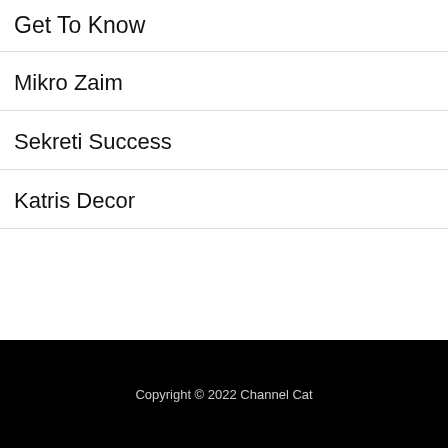Get To Know
Mikro Zaim
Sekreti Success
Katris Decor
Copyright © 2022 Channel Cat